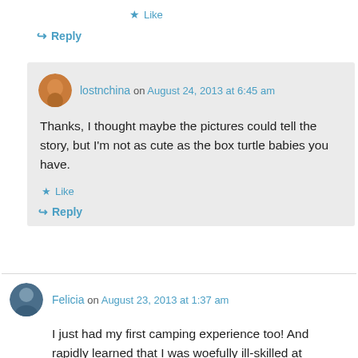★ Like
↪ Reply
lostnchina on August 24, 2013 at 6:45 am
Thanks, I thought maybe the pictures could tell the story, but I'm not as cute as the box turtle babies you have.
★ Like
↪ Reply
Felicia on August 23, 2013 at 1:37 am
I just had my first camping experience too! And rapidly learned that I was woefully ill-skilled at